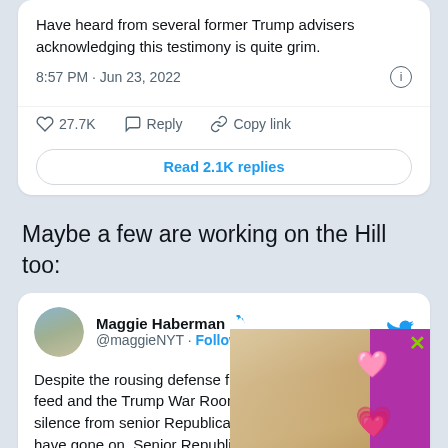[Figure (screenshot): Top portion of a tweet card showing tweet text, timestamp, action bar, and replies button]
Maybe a few are working on the Hill too:
[Figure (screenshot): Tweet card from Maggie Haberman (@maggieNYT) with text about House GOP Twitter feed and Trump War Room feed, partially covered by an advertisement overlay]